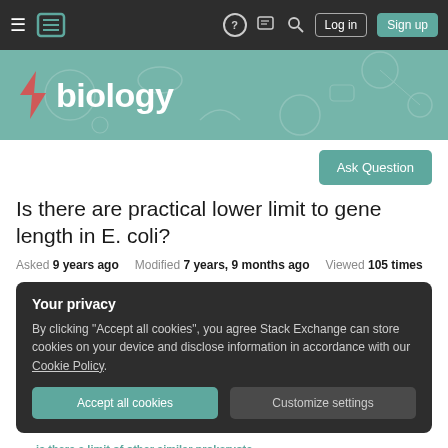Navigation bar with hamburger menu, Stack Exchange logo, help, chat, search icons, Log in and Sign up buttons
[Figure (screenshot): Biology Stack Exchange banner with teal background, biology icon and 'biology' text logo, decorative science icons in background]
Is there are practical lower limit to gene length in E. coli?
Asked 9 years ago   Modified 7 years, 9 months ago   Viewed 105 times
Your privacy
By clicking "Accept all cookies", you agree Stack Exchange can store cookies on your device and disclose information in accordance with our Cookie Policy.
Accept all cookies   Customize settings
is there a limit of other similar prokaryote...